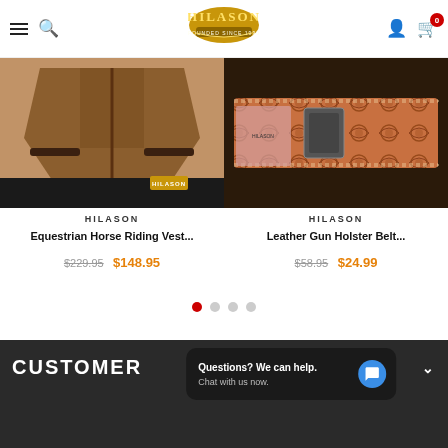HILASON - Navigation header with hamburger menu, search, logo, user icon, cart (0)
[Figure (photo): Equestrian horse riding vest product photo - brown leather vest]
HILASON
Equestrian Horse Riding Vest...
$229.95  $148.95
[Figure (photo): Leather gun holster belt product photo - tooled leather belt with floral design]
HILASON
Leather Gun Holster Belt...
$58.95  $24.99
Carousel pagination dots
CUSTOMER
Questions? We can help. Chat with us now.